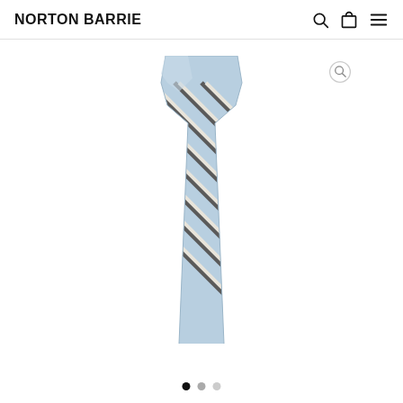NORTON BARRIE
[Figure (photo): A light blue striped necktie folded and displayed against a white background. The tie features diagonal stripes in dark grey/charcoal and white/cream on a pale blue base fabric.]